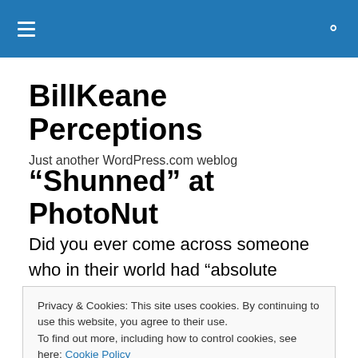BillKeane Perceptions — site navigation and search
BillKeane Perceptions
Just another WordPress.com weblog
“Shunned” at PhotoNut
Did you ever come across someone who in their world had “absolute power”?  Could be a 3rd grade classroom,
Privacy & Cookies: This site uses cookies. By continuing to use this website, you agree to their use.
To find out more, including how to control cookies, see here: Cookie Policy
and unwavering homage, or suffer the consequences